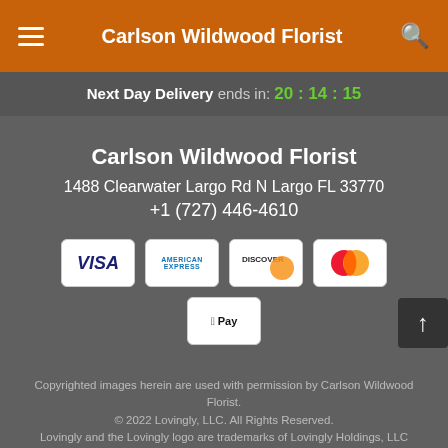Carlson Wildwood Florist
Next Day Delivery ends in: 20:14:15
Carlson Wildwood Florist
1488 Clearwater Largo Rd N Largo FL 33770
+1 (727) 446-4610
[Figure (infographic): Payment method icons: Visa, American Express, Discover, Mastercard, Apple Pay]
Copyrighted images herein are used with permission by Carlson Wildwood Florist.
© 2022 Lovingly, LLC. All Rights Reserved.
Lovingly and the Lovingly logo are trademarks of Lovingly Holdings, LLC
Terms of Service | Privacy Policy | Accessibility Statement | Delivery Policy